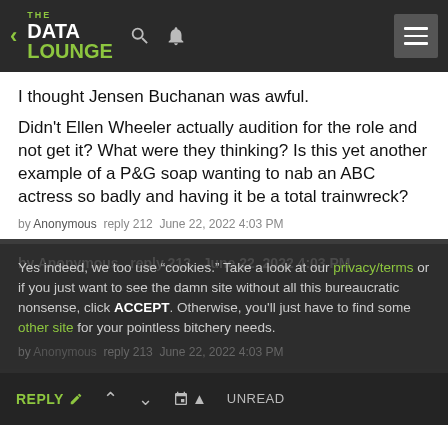THE DATA LOUNGE
I thought Jensen Buchanan was awful.
Didn't Ellen Wheeler actually audition for the role and not get it? What were they thinking? Is this yet another example of a P&G soap wanting to nab an ABC actress so badly and having it be a total trainwreck?
by Anonymous  reply 212  June 22, 2022 4:03 PM
Yes indeed, we too use "cookies." Take a look at our privacy/terms or if you just want to see the damn site without all this bureaucratic nonsense, click ACCEPT. Otherwise, you'll just have to find some other site for your pointless bitchery needs.
by Anonymous  reply 213  June 22, 2022 4:03 PM
REPLY  ∧  ∨  UNREAD